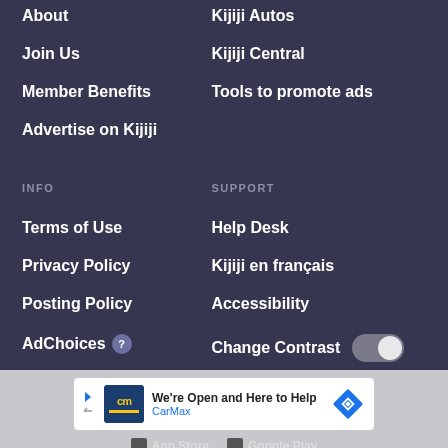About
Kijiji Autos
Join Us
Kijiji Central
Member Benefits
Tools to promote ads
Advertise on Kijiji
INFO
SUPPORT
Terms of Use
Help Desk
Privacy Policy
Kijiji en français
Posting Policy
Accessibility
AdChoices ?
Change Contrast
[Figure (screenshot): CarMax advertisement banner: 'We're Open and Here to Help' with CarMax logo and navigation diamond icon]
App Store
Google Play